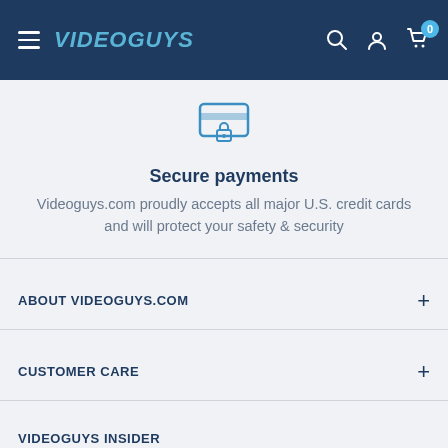Videoguys
[Figure (illustration): Secure payment icon: credit card with lock symbol, blue outline style]
Secure payments
Videoguys.com proudly accepts all major U.S. credit cards and will protect your safety & security
ABOUT VIDEOGUYS.COM
CUSTOMER CARE
VIDEOGUYS INSIDER
Register now to receive special email offers, new product